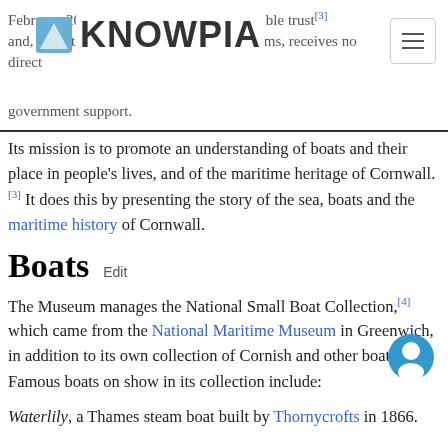February 2003. It is an independent charitable trust[3] and, like other national museums, receives no direct government support.
Its mission is to promote an understanding of boats and their place in people's lives, and of the maritime heritage of Cornwall.[3] It does this by presenting the story of the sea, boats and the maritime history of Cornwall.
Boats  Edit
The Museum manages the National Small Boat Collection,[4] which came from the National Maritime Museum in Greenwich, in addition to its own collection of Cornish and other boats. Famous boats on show in its collection include:
Waterlily, a Thames steam boat built by Thornycrofts in 1866.